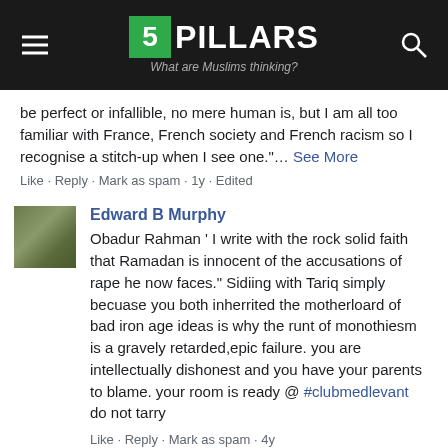5PILLARS — What are Muslims thinking?
be perfect or infallible, no mere human is, but I am all too familiar with France, French society and French racism so I recognise a stitch-up when I see one."… See More
Like · Reply · Mark as spam · 1y · Edited
Edward B Murphy
Obadur Rahman ' I write with the rock solid faith that Ramadan is innocent of the accusations of rape he now faces." Sidiing with Tariq simply becuase you both inherrited the motherloard of bad iron age ideas is why the runt of monothiesm is a gravely retarded,epic failure. you are intellectually dishonest and you have your parents to blame. your room is ready @ #clubmedlevant do not tarry
Like · Reply · Mark as spam · 4y
Show 10 more replies in this thread